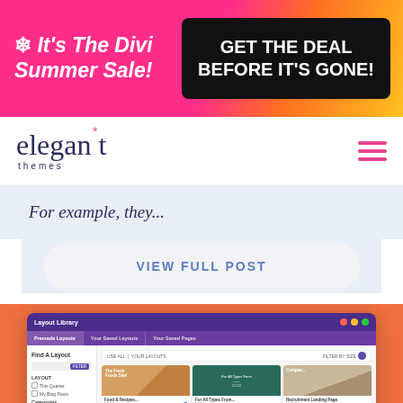[Figure (screenshot): Promotional banner for Divi Summer Sale with pink/orange gradient background. Left side shows '❄ It’s The Divi Summer Sale!' in white bold italic text. Right side shows black box with 'GET THE DEAL BEFORE IT’S GONE!' in white bold text.]
[Figure (screenshot): Elegant Themes navigation bar with logo on left and hamburger menu icon (pink) on right.]
For example, they...
VIEW FULL POST
[Figure (screenshot): Screenshot of Divi Layout Library interface showing a purple-themed UI with sidebar filters and a grid of page layout thumbnails including food blog, teal forms, tan landing pages, museum, blog, and portfolio layouts.]